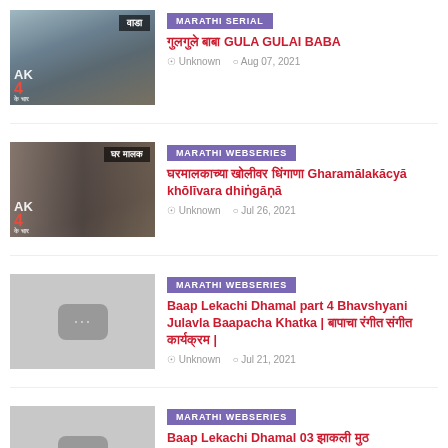[Figure (photo): Thumbnail image with text 'वाडा' overlay, showing scene with people]
MARATHI SERIAL
गुलगुले बाबा GULA GULAI BABA
Unknown  Aug 07, 2021
[Figure (photo): Thumbnail image with text 'घर मालक' overlay, showing indoor scene]
MARATHI WEBSERIES
घरमालकाच्या खोलीवर धिंगाणा Gharamālakācyā khōlīvara dhiṅgāṇā
Unknown  Jul 26, 2021
[Figure (photo): Gray placeholder thumbnail with YouTube-style icon]
MARATHI WEBSERIES
Baap Lekachi Dhamal part 4 Bhavshyani Julavla Baapacha Khatka | बापाचा रंगीत संगीत कार्यक्रम |
Unknown  Jul 21, 2021
[Figure (photo): Gray placeholder thumbnail with YouTube-style icon]
MARATHI WEBSERIES
Baap Lekachi Dhamal 03 झाकली मुठ